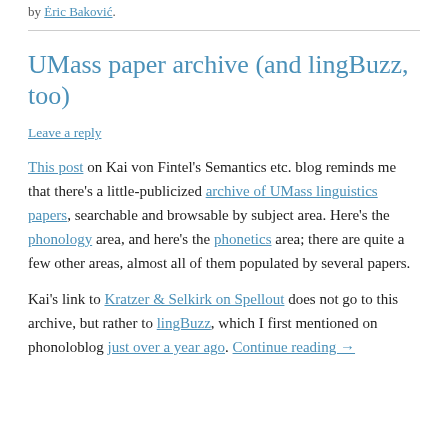by Eric Bakovic.
UMass paper archive (and lingBuzz, too)
Leave a reply
This post on Kai von Fintel's Semantics etc. blog reminds me that there's a little-publicized archive of UMass linguistics papers, searchable and browsable by subject area. Here's the phonology area, and here's the phonetics area; there are quite a few other areas, almost all of them populated by several papers.
Kai's link to Kratzer & Selkirk on Spellout does not go to this archive, but rather to lingBuzz, which I first mentioned on phonoloblog just over a year ago. Continue reading →